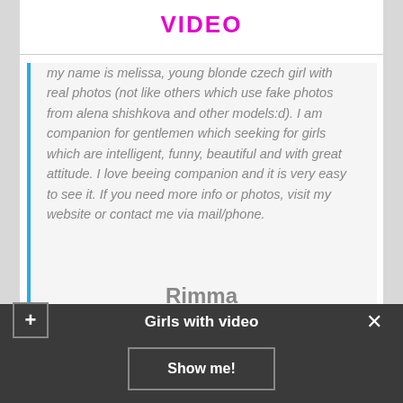VIDEO
my name is melissa, young blonde czech girl with real photos (not like others which use fake photos from alena shishkova and other models:d). I am companion for gentlemen which seeking for girls which are intelligent, funny, beautiful and with great attitude. I love beeing companion and it is very easy to see it. If you need more info or photos, visit my website or contact me via mail/phone.
Rimma
Girls with video
Show me!